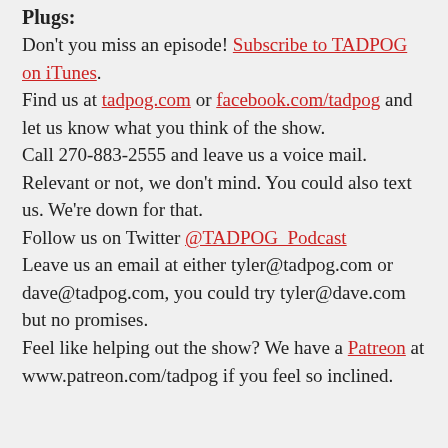Plugs:
Don't you miss an episode! Subscribe to TADPOG on iTunes.
Find us at tadpog.com or facebook.com/tadpog and let us know what you think of the show.
Call 270-883-2555 and leave us a voice mail. Relevant or not, we don't mind. You could also text us. We're down for that.
Follow us on Twitter @TADPOG_Podcast
Leave us an email at either tyler@tadpog.com or dave@tadpog.com, you could try tyler@dave.com but no promises.
Feel like helping out the show? We have a Patreon at www.patreon.com/tadpog if you feel so inclined.